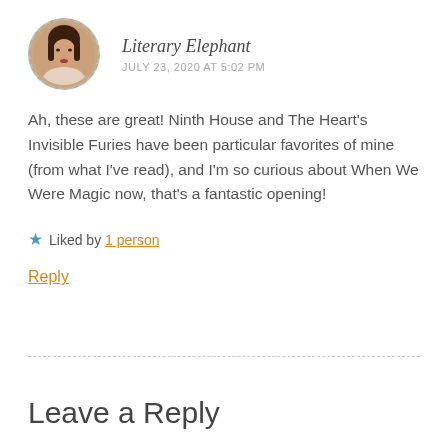[Figure (photo): Circular avatar photo of a young woman with dark hair, framed by a dashed circular border]
Literary Elephant
JULY 23, 2020 AT 5:02 PM
Ah, these are great! Ninth House and The Heart's Invisible Furies have been particular favorites of mine (from what I've read), and I'm so curious about When We Were Magic now, that's a fantastic opening!
★ Liked by 1 person
Reply
Leave a Reply